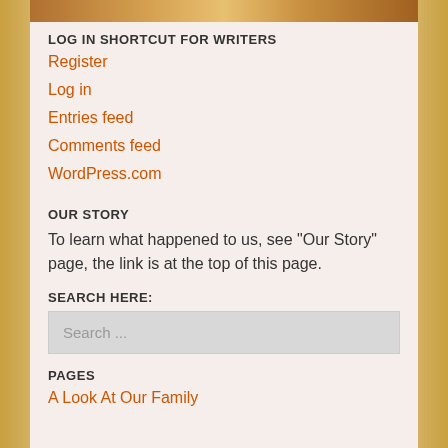[Figure (photo): Top banner image showing a person with a flag, partially cropped, with gold decorative borders on left and right sides of the page]
LOG IN SHORTCUT FOR WRITERS
Register
Log in
Entries feed
Comments feed
WordPress.com
OUR STORY
To learn what happened to us, see "Our Story" page, the link is at the top of this page.
SEARCH HERE:
Search ...
PAGES
A Look At Our Family